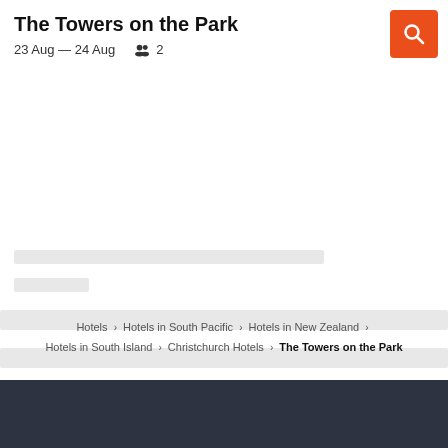The Towers on the Park
23 Aug — 24 Aug   2
[Figure (screenshot): Orange search button with magnifying glass icon]
[Figure (screenshot): Loading skeleton placeholder bars (grey rectangles indicating content loading)]
Hotels > Hotels in South Pacific > Hotels in New Zealand > Hotels in South Island > Christchurch Hotels > The Towers on the Park